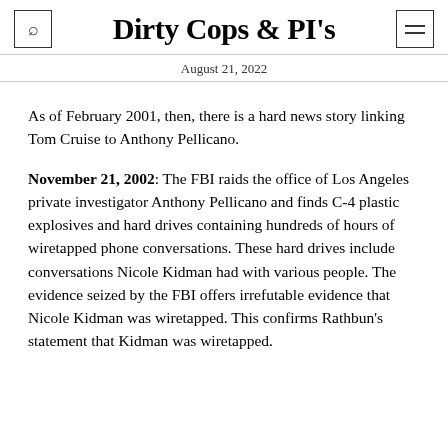Dirty Cops & PI's
August 21, 2022
As of February 2001, then, there is a hard news story linking Tom Cruise to Anthony Pellicano.
November 21, 2002: The FBI raids the office of Los Angeles private investigator Anthony Pellicano and finds C-4 plastic explosives and hard drives containing hundreds of hours of wiretapped phone conversations. These hard drives include conversations Nicole Kidman had with various people. The evidence seized by the FBI offers irrefutable evidence that Nicole Kidman was wiretapped. This confirms Rathbun’s statement that Kidman was wiretapped.